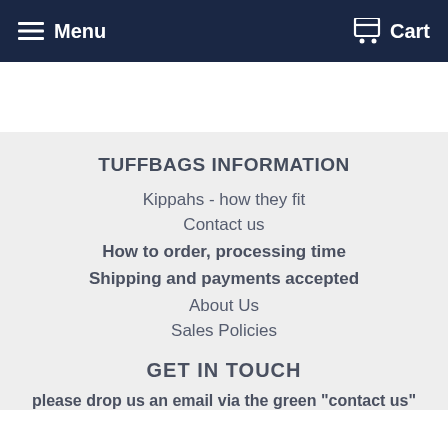Menu   Cart
TUFFBAGS INFORMATION
Kippahs - how they fit
Contact us
How to order, processing time
Shipping and payments accepted
About Us
Sales Policies
GET IN TOUCH
please drop us an email via the green "contact us"